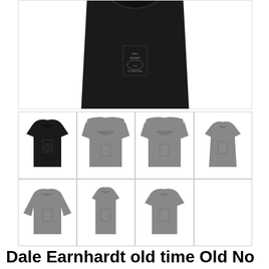[Figure (photo): Main product image: close-up of a black t-shirt with Dale Earnhardt Old No 3 Brand graphic design on the front chest area]
[Figure (photo): Product variant thumbnails: 7 clothing items shown in a 4x2 grid. Row 1: black t-shirt (selected), gray hoodie front, gray hoodie front variant, gray women's t-shirt. Row 2: gray long sleeve, gray tank top, gray t-shirt. All feature the same Dale Earnhardt graphic print.]
Dale Earnhardt old time Old No 3 Brand quality Nascar the